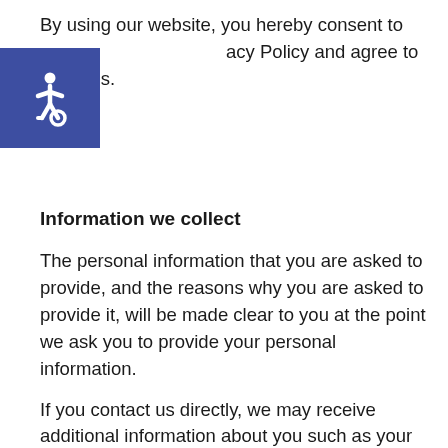By using our website, you hereby consent to our Privacy Policy and agree to its terms.
[Figure (other): Accessibility icon: white wheelchair symbol on dark blue square background]
Information we collect
The personal information that you are asked to provide, and the reasons why you are asked to provide it, will be made clear to you at the point we ask you to provide your personal information.
If you contact us directly, we may receive additional information about you such as your name, email address, phone number, the contents of the message and/or attachments you may send us, and any other information you may choose to provide.
When you register for an Account, we may ask for